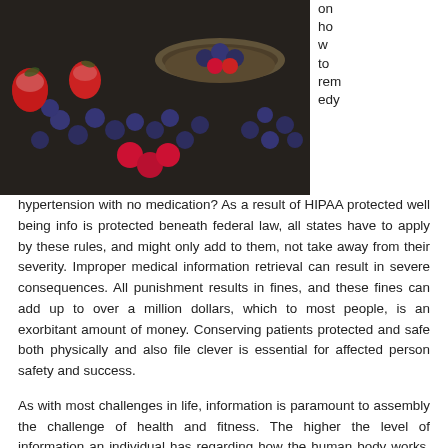[Figure (photo): Overhead dark-background photo of a bowl with blueberries, strawberries and raspberries, and scattered berries around it.]
on how to remedy hypertension with no medication? As a result of HIPAA protected well being info is protected beneath federal law, all states have to apply by these rules, and might only add to them, not take away from their severity. Improper medical information retrieval can result in severe consequences. All punishment results in fines, and these fines can add up to over a million dollars, which to most people, is an exorbitant amount of money. Conserving patients protected and safe both physically and also file clever is essential for affected person safety and success.
As with most challenges in life, information is paramount to assembly the challenge of health and fitness. The higher the level of information an individual has regarding how the human body works, the extra successful they are going to be in implementing a lifestyle that facilitates good health. In case